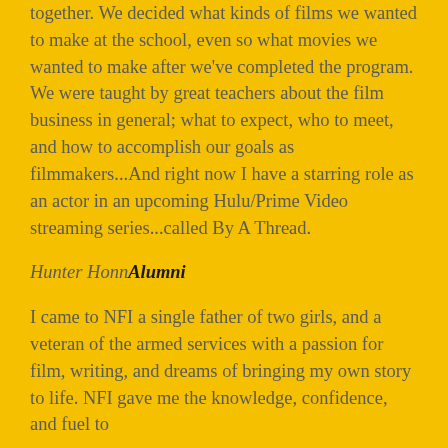together. We decided what kinds of films we wanted to make at the school, even so what movies we wanted to make after we've completed the program. We were taught by great teachers about the film business in general; what to expect, who to meet, and how to accomplish our goals as filmmakers...And right now I have a starring role as an actor in an upcoming Hulu/Prime Video streaming series...called By A Thread.
Hunter Honn Alumni
I came to NFI a single father of two girls, and a veteran of the armed services with a passion for film, writing, and dreams of bringing my own story to life. NFI gave me the knowledge, confidence, and fuel to